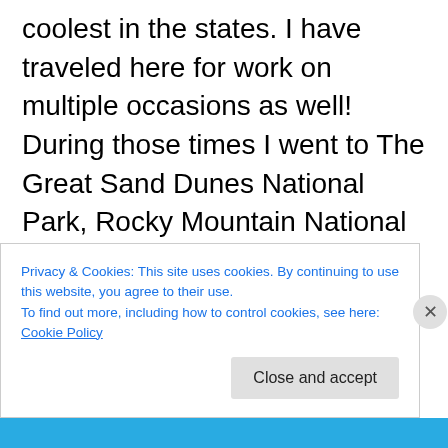coolest in the states. I have traveled here for work on multiple occasions as well! During those times I went to The Great Sand Dunes National Park, Rocky Mountain National Park and most recently The Black Canyon of the Gunnison National Park! The best thing about this state is the diversity of having awesome cities and towns while also being surrounded by gorgeous mountains and nature! Oh and the fact that no matter what season is there is always fun activities to do! I love snow skiing out
Privacy & Cookies: This site uses cookies. By continuing to use this website, you agree to their use.
To find out more, including how to control cookies, see here: Cookie Policy
Close and accept